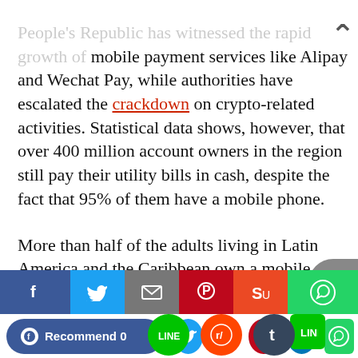People's Republic has witnessed the rapid growth of mobile payment services like Alipay and Wechat Pay, while authorities have escalated the crackdown on crypto-related activities. Statistical data shows, however, that over 400 million account owners in the region still pay their utility bills in cash, despite the fact that 95% of them have a mobile phone.
More than half of the adults living in Latin America and the Caribbean own a mobile phone and have access to